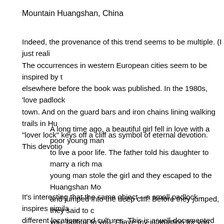Mountain Huangshan, China
Indeed, the provenance of this trend seems to be multiple. (I just reali The occurrences in western European cities seem to be inspired by t elsewhere before the book was published. In the 1980s, 'love padlock town. And on the guard bars and iron chains lining walking trails in Hu "lover lock" keys off a cliff as symbol of eternal devotion. This devotio
A long time ago, a beautiful girl fell in love with a poor young man to live a poor life. The father told his daughter to marry a rich ma young man stole the girl and they escaped to the Huangshan Mo and jumped into the deep cliff. Before they jumped, they said to c you, faithful to you, I have my infatuation for you, and will never c
It's interesting that the same object – a small padlock – inspires simila different locations and cultures. This is a well-documented phenomen objects" like trees. For example, metaphors and language about the s nurturing/power/truth that we forget such language came from the sur It seems that in this case, a padlock plus key makes people think abo What to the is last in ideals to storage showing in a shade in it a cliff